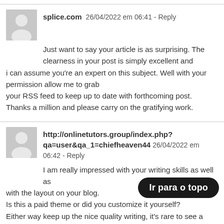splice.com  26/04/2022 em 06:41 - Reply

Just want to say your article is as surprising. The clearness in your post is simply excellent and i can assume you're an expert on this subject. Well with your permission allow me to grab your RSS feed to keep up to date with forthcoming post. Thanks a million and please carry on the gratifying work.
http://onlinetutors.group/index.php?qa=user&qa_1=chiefheaven44  26/04/2022 em 06:42 - Reply

I am really impressed with your writing skills as well as with the layout on your blog. Is this a paid theme or did you customize it yourself? Either way keep up the nice quality writing, it's rare to see a great blog like this one today.
www.indiegogo.com  26/04/2022 em 06:4… - Reply
Ir para o topo